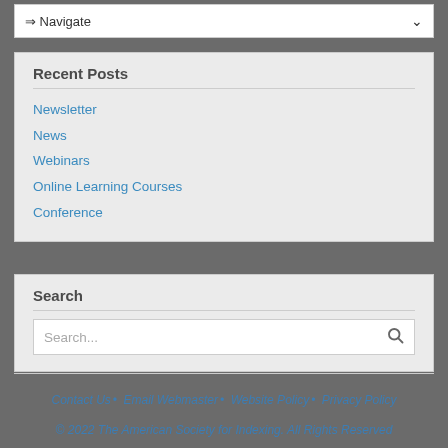⇒ Navigate
Recent Posts
Newsletter
News
Webinars
Online Learning Courses
Conference
Search
Search...
Contact Us • Email Webmaster • Website Policy • Privacy Policy
© 2022 The American Society for Indexing. All Rights Reserved